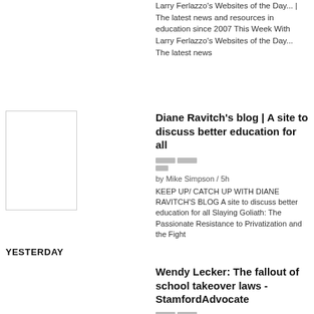Larry Ferlazzo's Websites of the Day... | The latest news and resources in education since 2007 This Week With Larry Ferlazzo's Websites of the Day... The latest news
Diane Ravitch's blog | A site to discuss better education for all
by Mike Simpson / 5h
KEEP UP/ CATCH UP WITH DIANE RAVITCH'S BLOG A site to discuss better education for all Slaying Goliath: The Passionate Resistance to Privatization and the Fight
YESTERDAY
Wendy Lecker: The fallout of school takeover laws - StamfordAdvocate
by Mike Simpson / 23h
Wendy Lecker: The fallout of school takeover laws What does Colin Kaepernick have to do with public schools?